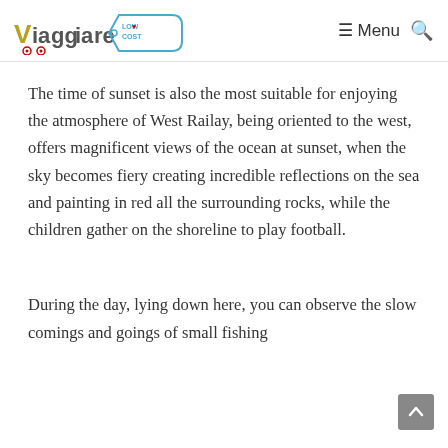Viaggiare Low Cost — Menu
The time of sunset is also the most suitable for enjoying the atmosphere of West Railay, being oriented to the west, offers magnificent views of the ocean at sunset, when the sky becomes fiery creating incredible reflections on the sea and painting in red all the surrounding rocks, while the children gather on the shoreline to play football.
During the day, lying down here, you can observe the slow comings and goings of small fishing